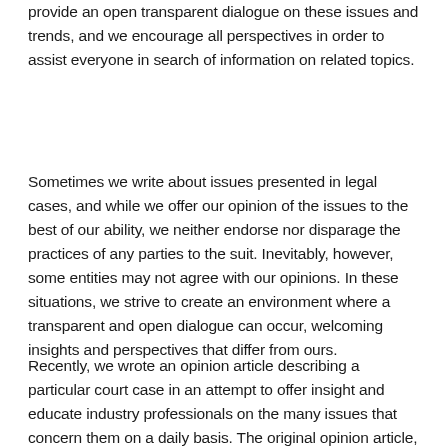provide an open transparent dialogue on these issues and trends, and we encourage all perspectives in order to assist everyone in search of information on related topics.
Sometimes we write about issues presented in legal cases, and while we offer our opinion of the issues to the best of our ability, we neither endorse nor disparage the practices of any parties to the suit. Inevitably, however, some entities may not agree with our opinions. In these situations, we strive to create an environment where a transparent and open dialogue can occur, welcoming insights and perspectives that differ from ours.
Recently, we wrote an opinion article describing a particular court case in an attempt to offer insight and educate industry professionals on the many issues that concern them on a daily basis. The original opinion article, titled "Don't Leave Fox Guarding Employer Plan" which can be found here, and here.
Unfortunately, and in spite of our best efforts, an entity who was never named in our article but who was a party